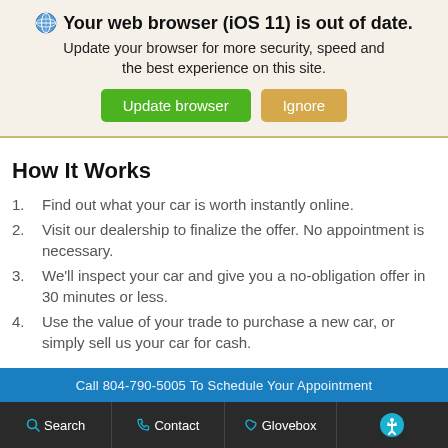[Figure (screenshot): Browser update notification banner with globe icon, bold title 'Your web browser (iOS 11) is out of date.', subtitle text, and two buttons: green 'Update browser' and tan 'Ignore']
How It Works
Find out what your car is worth instantly online.
Visit our dealership to finalize the offer. No appointment is necessary.
We'll inspect your car and give you a no-obligation offer in 30 minutes or less.
Use the value of your trade to purchase a new car, or simply sell us your car for cash.
[Figure (screenshot): Blue call-to-action bar partially visible: 'Call 804-790-5005 To Schedule Your Appointment']
Search   Contact   Glovebox   [Accessibility icon]